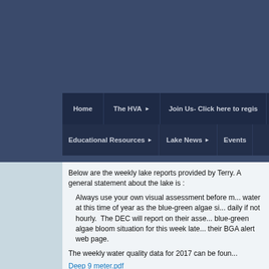[Figure (screenshot): Dark navy blue website header background with texture]
Home | The HVA ▶ | Join Us- Click here to regis...
Educational Resources ▶ | Lake News ▶ | Events
Below are the weekly lake reports provided by Terry. A general statement about the lake is :
Always use your own visual assessment before m... water at this time of year as the blue-green algae si... daily if not hourly. The DEC will report on their asse... blue-green algae bloom situation for this week late... their BGA alert web page.
The weekly water quality data for 2017 can be foun...
Deep 9 meter.pdf